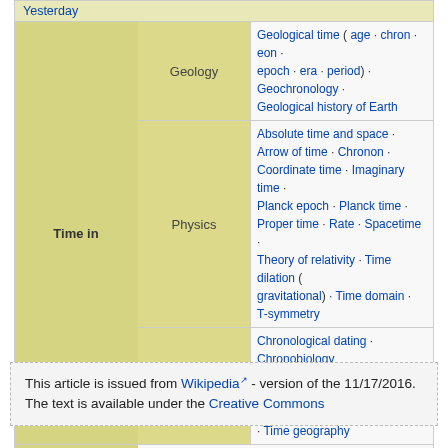|  |  |  |
| --- | --- | --- |
|  |  | Yesterday |
| Time in | Geology | Geological time ( age · chron · eon · epoch · era · period) · Geochronology · Geological history of Earth |
| Time in | Physics | Absolute time and space · Arrow of time · Chronon · Coordinate time · Imaginary time · Planck epoch · Planck time · Proper time · Rate · Spacetime · Theory of relativity · Time dilation ( gravitational) · Time domain · T-symmetry |
| Time in | other subject areas | Chronological dating · Chronobiology · Circadian rhythms · Dating methodologies in archaeology · Time geography |
| Related topics |  | Carpe diem · Clock position · Space · System time · Tempus fugit · Time capsule · Time complexity · Time signature · Time travel |
|  | 🕰 Time portal |  |
This article is issued from Wikipedia - version of the 11/17/2016. The text is available under the Creative Commons